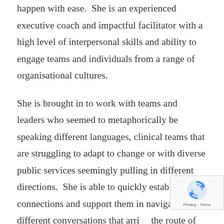happen with ease.  She is an experienced executive coach and impactful facilitator with a high level of interpersonal skills and ability to engage teams and individuals from a range of organisational cultures.
She is brought in to work with teams and leaders who seemed to metaphorically be speaking different languages, clinical teams that are struggling to adapt to change or with diverse public services seemingly pulling in different directions.  She is able to quickly establish connections and support them in navigating different conversations that arrive the route of the issue and help them move for The resulting increase in innovative thinking and
[Figure (other): reCAPTCHA badge with spinning arrows icon and Privacy - Terms text]